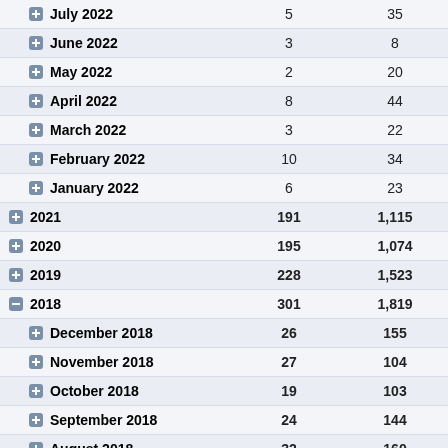| Period | Count1 | Count2 |
| --- | --- | --- |
| July 2022 | 5 | 35 |
| June 2022 | 3 | 8 |
| May 2022 | 2 | 20 |
| April 2022 | 8 | 44 |
| March 2022 | 3 | 22 |
| February 2022 | 10 | 34 |
| January 2022 | 6 | 23 |
| 2021 | 191 | 1,115 |
| 2020 | 195 | 1,074 |
| 2019 | 228 | 1,523 |
| 2018 | 301 | 1,819 |
| December 2018 | 26 | 155 |
| November 2018 | 27 | 104 |
| October 2018 | 19 | 103 |
| September 2018 | 24 | 144 |
| August 2018 | 32 | 160 |
| July 2018 | 26 | 143 |
| 2018-07-01 | 0 | 6 |
| 2018-07-02 | 1 | 7 |